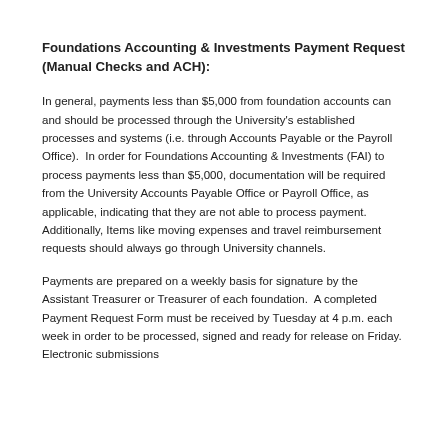Foundations Accounting & Investments Payment Request (Manual Checks and ACH):
In general, payments less than $5,000 from foundation accounts can and should be processed through the University's established processes and systems (i.e. through Accounts Payable or the Payroll Office).  In order for Foundations Accounting & Investments (FAI) to process payments less than $5,000, documentation will be required from the University Accounts Payable Office or Payroll Office, as applicable, indicating that they are not able to process payment.  Additionally, Items like moving expenses and travel reimbursement requests should always go through University channels.
Payments are prepared on a weekly basis for signature by the Assistant Treasurer or Treasurer of each foundation.  A completed Payment Request Form must be received by Tuesday at 4 p.m. each week in order to be processed, signed and ready for release on Friday.  Electronic submissions